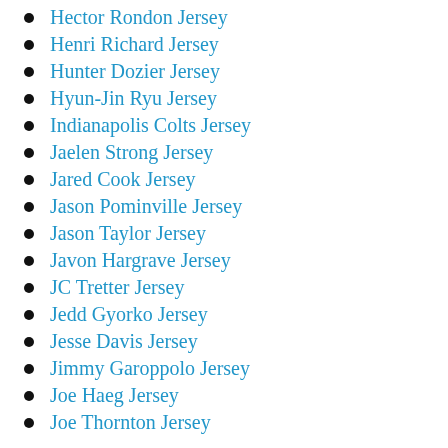Hector Rondon Jersey
Henri Richard Jersey
Hunter Dozier Jersey
Hyun-Jin Ryu Jersey
Indianapolis Colts Jersey
Jaelen Strong Jersey
Jared Cook Jersey
Jason Pominville Jersey
Jason Taylor Jersey
Javon Hargrave Jersey
JC Tretter Jersey
Jedd Gyorko Jersey
Jesse Davis Jersey
Jimmy Garoppolo Jersey
Joe Haeg Jersey
Joe Thornton Jersey